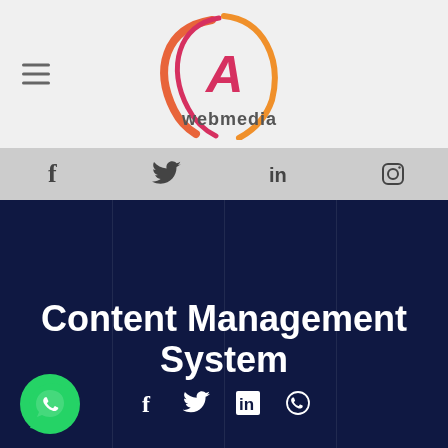[Figure (logo): A-webmedia logo with circular swoosh design in red/orange gradient with letter A, and text 'webmedia' below]
[Figure (infographic): Social media navigation bar with Facebook, Twitter, LinkedIn, Instagram icons on grey background]
Content Management System
[Figure (infographic): Social share icons row: Facebook, Twitter, LinkedIn, WhatsApp on dark navy background]
[Figure (logo): WhatsApp floating button (green circle with phone handset icon)]